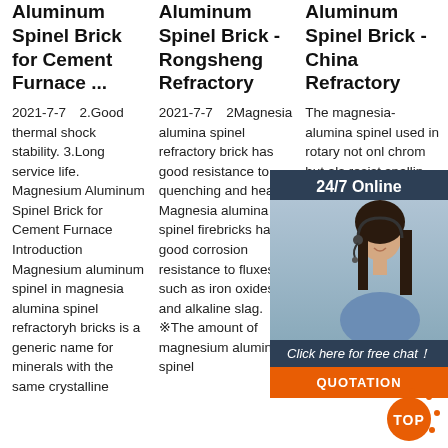Aluminum Spinel Brick for Cement Furnace ...
Aluminum Spinel Brick - Rongsheng Refractory
Aluminum Spinel Brick - China Refractory
2021-7-7  2.Good thermal shock stability. 3.Long service life. Magnesium Aluminum Spinel Brick for Cement Furnace Introduction Magnesium aluminum spinel in magnesia alumina spinel refractoryh bricks is a generic name for minerals with the same crystalline
2021-7-7  2Magnesia alumina spinel refractory brick has good resistance to quenching and heat, Magnesia alumina spinel firebricks has good corrosion resistance to fluxes such as iron oxides and alkaline slag. ※The amount of magnesium aluminum spinel
The magnesia-alumina spinel used in rotary not only chrome but also resist spalling Magnesia aluminum firebricks is used to make ladle castable, greatly improve the erosion resistance of the steel lining. Magnesium
[Figure (photo): 24/7 Online chat widget with a customer service representative photo, 'Click here for free chat!' text, and a QUOTATION button in orange]
[Figure (logo): Orange TOP button with dots around it in bottom right corner]